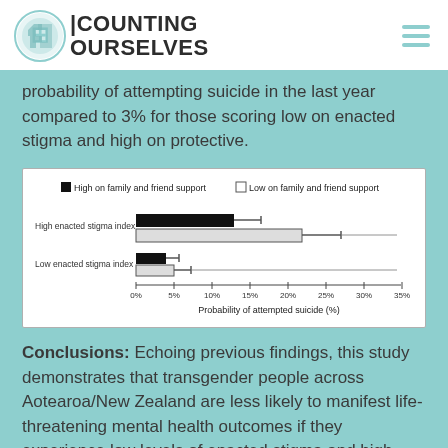COUNTING OURSELVES
probability of attempting suicide in the last year compared to 3% for those scoring low on enacted stigma and high on protective.
[Figure (bar-chart): Probability of attempted suicide (%)]
Conclusions: Echoing previous findings, this study demonstrates that transgender people across Aotearoa/New Zealand are less likely to manifest life-threatening mental health outcomes if they experience low levels of enacted stigma and high levels of access to protective factors. Our findings